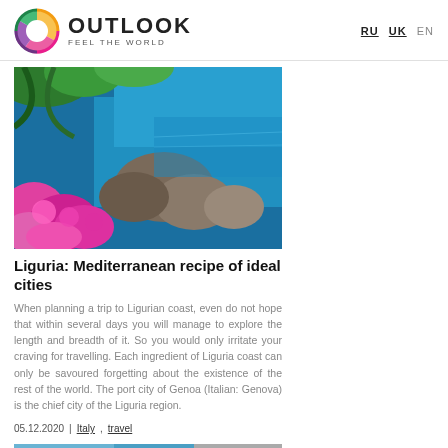OUTLOOK FEEL THE WORLD | RU UK EN
[Figure (photo): Coastal Ligurian scene with pink/magenta bougainvillea flowers in foreground, rocky cliffs, and blue Mediterranean sea]
Liguria: Mediterranean recipe of ideal cities
When planning a trip to Ligurian coast, even do not hope that within several days you will manage to explore the length and breadth of it. So you would only irritate your craving for travelling. Each ingredient of Liguria coast can only be savoured forgetting about the existence of the rest of the world. The port city of Genoa (Italian: Genova) is the chief city of the Liguria region.
05.12.2020 | Italy, travel
[Figure (photo): Partial view of another coastal/travel photo at bottom of page]